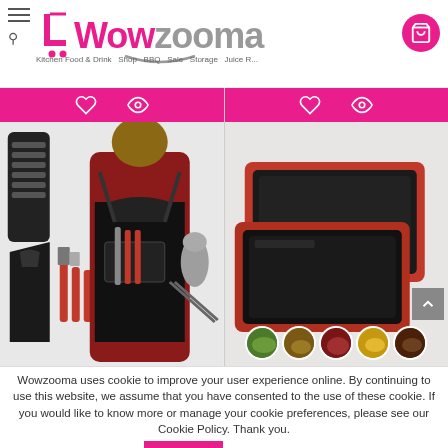[Figure (screenshot): Wowzooma e-commerce website header with pink and grey logo, hamburger menu, search icon, and shopping cart icon]
[Figure (photo): BBQ/grilling tool set with apron, utensils, carrying case, and oven mitt displayed on a model]
[Figure (photo): Red and black non-stick baking/roasting pans set with food thumbnail images at bottom]
Wowzooma uses cookie to improve your user experience online. By continuing to use this website, we assume that you have consented to the use of these cookie. If you would like to know more or manage your cookie preferences, please see our Cookie Policy. Thank you.